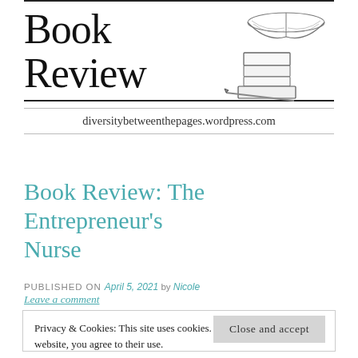Book Review
diversitybetweenthepages.wordpress.com
Book Review: The Entrepreneur's Nurse
PUBLISHED ON April 5, 2021 by Nicole
Leave a comment
Privacy & Cookies: This site uses cookies. By continuing to use this website, you agree to their use.
To find out more, including how to control cookies, see here:
Cookie Policy
Close and accept